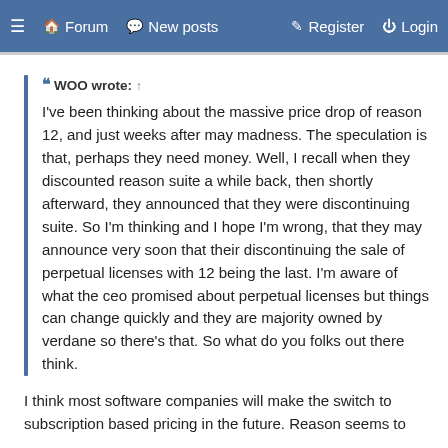≡ 🏠 Forum 💬 New posts 📝 Register ⏻ Login
WOO wrote: ↑

I've been thinking about the massive price drop of reason 12, and just weeks after may madness. The speculation is that, perhaps they need money. Well, I recall when they discounted reason suite a while back, then shortly afterward, they announced that they were discontinuing suite. So I'm thinking and I hope I'm wrong, that they may announce very soon that their discontinuing the sale of perpetual licenses with 12 being the last. I'm aware of what the ceo promised about perpetual licenses but things can change quickly and they are majority owned by verdane so there's that. So what do you folks out there think.
I think most software companies will make the switch to subscription based pricing in the future. Reason seems to